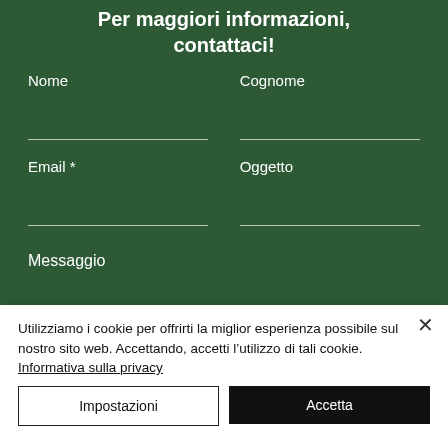Per maggiori informazioni, contattaci!
Nome
Cognome
Email *
Oggetto
Messaggio
Utilizziamo i cookie per offrirti la miglior esperienza possibile sul nostro sito web. Accettando, accetti l’utilizzo di tali cookie. Informativa sulla privacy
Impostazioni
Accetta